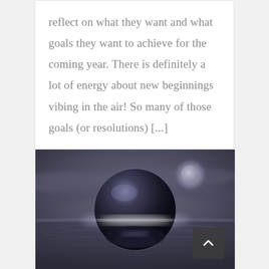reflect on what they want and what goals they want to achieve for the coming year. There is definitely a lot of energy about new beginnings vibing in the air! So many of those goals (or resolutions) [...]
[Figure (photo): A dark, moody digital artwork showing a large reflective metallic sphere sitting on a still water surface under a dramatic grey cloudy sky, with a glowing moon in the upper right background and a bright light emanating from the horizon behind the sphere. A scroll-to-top button with a caret/chevron up symbol is overlaid in the lower right corner.]